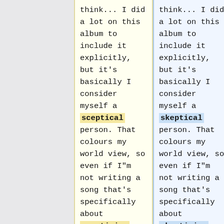think... I did a lot on this album to include it explicitly, but it's basically I consider myself a sceptical person. That colours my world view, so even if I"m not writing a song that's specifically about scepticism,
think... I did a lot on this album to include it explicitly, but it's basically I consider myself a skeptical person. That colours my world view, so even if I"m not writing a song that's specifically about skepticism,